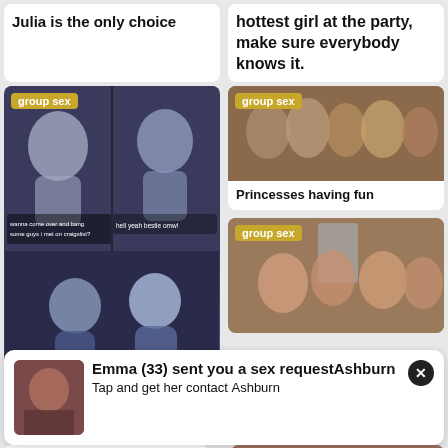Julia is the only choice
hottest girl at the party, make sure everybody knows it.
[Figure (illustration): Anime-style illustration with 'group sex' badge, two panels showing characters with text 'wanna come over and bang some guys i met on craigslist?' and 'hell yeah bestie omw!' followed by two characters below]
[Figure (photo): Photo with 'group sex' badge showing multiple figures]
Princesses having fun
[Figure (illustration): Illustrated scene with 'group sex' badge]
[Figure (photo): Photo of person]
Emma (33) sent you a sex request in Ashburn
Tap and get her contact in Ashburn
BBC Makes Every Friendship Better